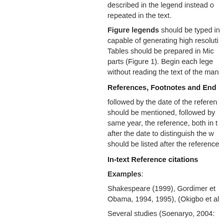described in the legend instead of repeated in the text.
Figure legends should be typed in capable of generating high resolution. Tables should be prepared in Microsoft Word parts (Figure 1). Begin each legend without reading the text of the manuscript.
References, Footnotes and Endnotes
followed by the date of the reference should be mentioned, followed by same year, the reference, both in the after the date to distinguish the works should be listed after the references.
In-text Reference citations
Examples:
Shakespeare (1999), Gordimer et Obama, 1994, 1995), (Okigbo et al
Several studies (Soenaryo, 2004: